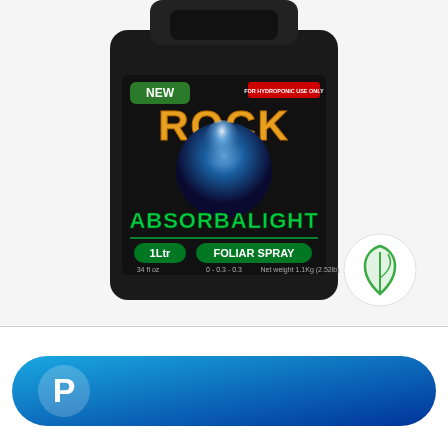[Figure (photo): Rock Absorbalight Foliar Spray 1 Ltr black bottle with label showing NEW badge, FOR HYDROPONIC USE ONLY badge, ROCK text in orange, large blue planet graphic, ABSORBALIGHT text in green, FOLIAR SPRAY green banner, 0-0.3-0.3 NPK, 34 fl oz, Net weight 1.1kg]
[Figure (logo): Green leaf icon (circle with leaf outline) on white circular background]
[Figure (logo): PayPal logo on blue gradient pill-shaped banner]